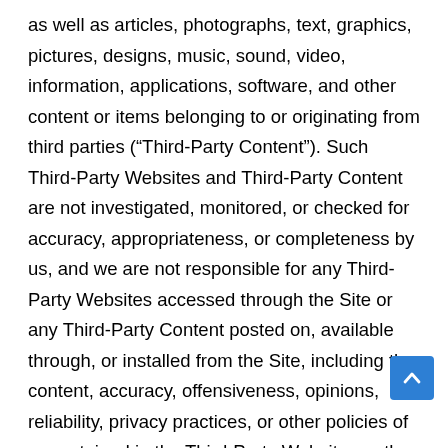as well as articles, photographs, text, graphics, pictures, designs, music, sound, video, information, applications, software, and other content or items belonging to or originating from third parties (“Third-Party Content”). Such Third-Party Websites and Third-Party Content are not investigated, monitored, or checked for accuracy, appropriateness, or completeness by us, and we are not responsible for any Third-Party Websites accessed through the Site or any Third-Party Content posted on, available through, or installed from the Site, including the content, accuracy, offensiveness, opinions, reliability, privacy practices, or other policies of or contained in the Third-Party Websites or the Third-Party Content. Inclusion of, linking to, or permitting the use or installation of any Third-Party Websites or any Third-Party Content does not imply approval or